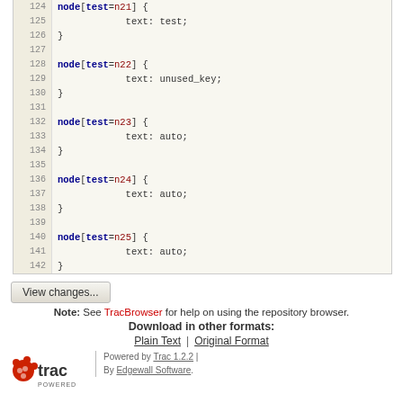[Figure (screenshot): Code viewer showing lines 124-142 of a stylesheet with node selectors for test=n21 through n25, each with text properties]
View changes...
Note: See TracBrowser for help on using the repository browser.
Download in other formats:
Plain Text | Original Format
Powered by Trac 1.2.2 | By Edgewall Software. Server sponsored by FOSSGIS. Visit the OpenStreetMap project at https://www.openstreetmap.org/ Content is available under Creative Commons (CC-BY-SA) and anything since April 2014 also under LGPL license.